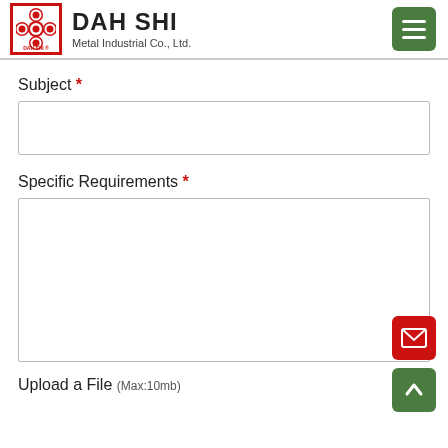DAH SHI Metal Industrial Co., Ltd.
Subject *
Specific Requirements *
Upload a File (Max:10mb)